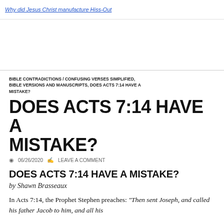Why did Jesus Christ manufacture Hiss-Out
BIBLE CONTRADICTIONS / CONFUSING VERSES SIMPLIFIED, BIBLE VERSIONS AND MANUSCRIPTS, DOES ACTS 7:14 HAVE A MISTAKE?
DOES ACTS 7:14 HAVE A MISTAKE?
06/26/2020   LEAVE A COMMENT
DOES ACTS 7:14 HAVE A MISTAKE?
by Shawn Brasseaux
In Acts 7:14, the Prophet Stephen preaches: “Then sent Joseph, and called his father Jacob to him, and all his